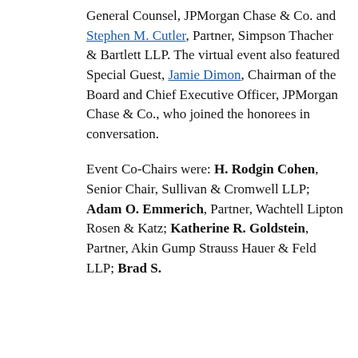General Counsel, JPMorgan Chase & Co. and Stephen M. Cutler, Partner, Simpson Thacher & Bartlett LLP. The virtual event also featured Special Guest, Jamie Dimon, Chairman of the Board and Chief Executive Officer, JPMorgan Chase & Co., who joined the honorees in conversation.
Event Co-Chairs were: H. Rodgin Cohen, Senior Chair, Sullivan & Cromwell LLP; Adam O. Emmerich, Partner, Wachtell Lipton Rosen & Katz; Katherine R. Goldstein, Partner, Akin Gump Strauss Hauer & Feld LLP; Brad S. ... ton & ... tner, Wachtell ... ngwood. ... full ... ommittee
... st Region ... welcoming remarks. Special greetings from HU Faculty of Law
[Figure (other): Cookie consent banner overlay with bold text: 'We use cookies on our website to give you the most relevant experience by remembering your preferences and repeat visits. By clicking "Accept", you consent to the use of ALL the cookies.' with 'Cookie settings' underlined button and black 'ACCEPT' button.]